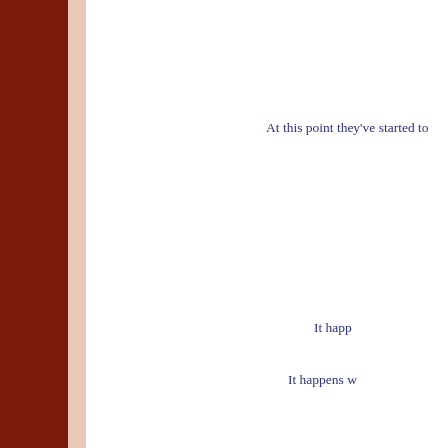At this point they've started to
It happ
It happens w